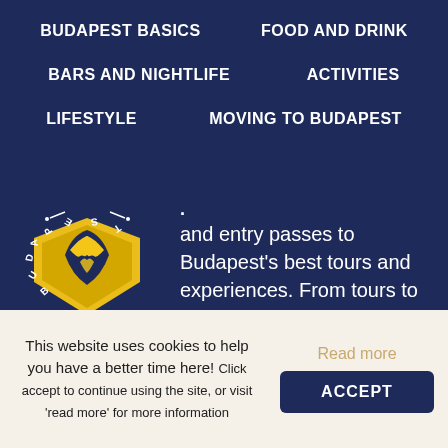BUDAPEST BASICS   FOOD AND DRINK
BARS AND NIGHTLIFE   ACTIVITIES
LIFESTYLE   MOVING TO BUDAPEST
[Figure (logo): Budapest heart/shield logo with 'BUDAPEST' text arranged in a circle, yellow and white design on dark navy background]
and entry passes to Budapest's best tours and experiences. From tours to river cruises, spa packages to pub crawls,
This website uses cookies to help you have a better time here! Click accept to continue using the site, or visit 'read more' for more information
Read more
ACCEPT